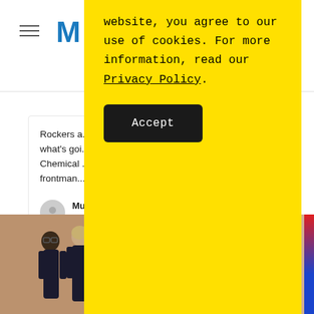M
Rockers a... what's goi... Chemical ... frontman...
Mu... June...
[Figure (photo): Band photo with two male musicians standing in front of a brick wall]
[Figure (screenshot): Cookie consent modal overlay with yellow background. Text reads: 'website, you agree to our use of cookies. For more information, read our Privacy Policy' with an Accept button]
website, you agree to our use of cookies. For more information, read our Privacy Policy
Accept